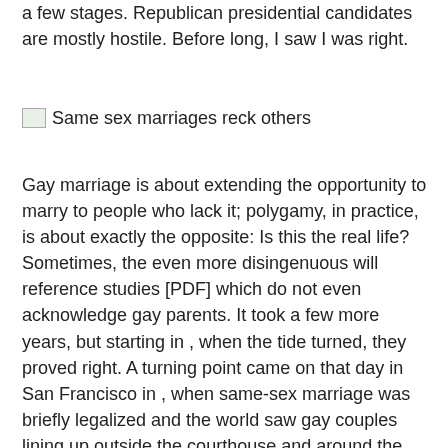a few stages. Republican presidential candidates are mostly hostile. Before long, I saw I was right.
[Figure (other): Broken image placeholder with caption: Same sex marriages reck others]
Gay marriage is about extending the opportunity to marry to people who lack it; polygamy, in practice, is about exactly the opposite: Is this the real life? Sometimes, the even more disingenuous will reference studies [PDF] which do not even acknowledge gay parents. It took a few more years, but starting in , when the tide turned, they proved right. A turning point came on that day in San Francisco in , when same-sex marriage was briefly legalized and the world saw gay couples lining up outside the courthouse and around the block. Twenty years ago, his qualms seemed perfectly reasonable. When this issue first came up in — the first gay couple tried to get married in , filed a lawsuit and lost — the